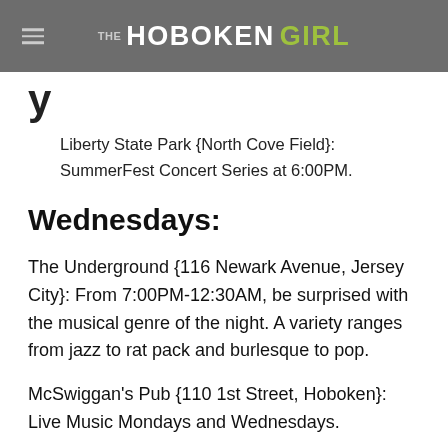THE HOBOKEN GIRL
y
Liberty State Park {North Cove Field}: SummerFest Concert Series at 6:00PM.
Wednesdays:
The Underground {116 Newark Avenue, Jersey City}: From 7:00PM-12:30AM, be surprised with the musical genre of the night. A variety ranges from jazz to rat pack and burlesque to pop.
McSwiggan's Pub {110 1st Street, Hoboken}: Live Music Mondays and Wednesdays.